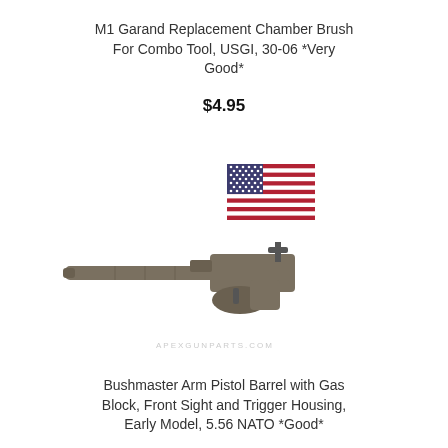M1 Garand Replacement Chamber Brush For Combo Tool, USGI, 30-06 *Very Good*
$4.95
[Figure (photo): American flag icon and a Bushmaster arm pistol barrel with gas block, front sight and trigger housing part shown on white background with APEXGUNPARTS.COM watermark]
Bushmaster Arm Pistol Barrel with Gas Block, Front Sight and Trigger Housing, Early Model, 5.56 NATO *Good*